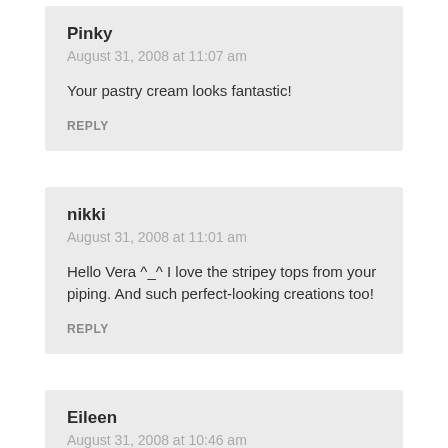Pinky
August 31, 2008 at 11:07 am
Your pastry cream looks fantastic!
REPLY
nikki
August 31, 2008 at 11:01 am
Hello Vera ^_^ I love the stripey tops from your piping. And such perfect-looking creations too!
REPLY
Eileen
August 31, 2008 at 10:46 am